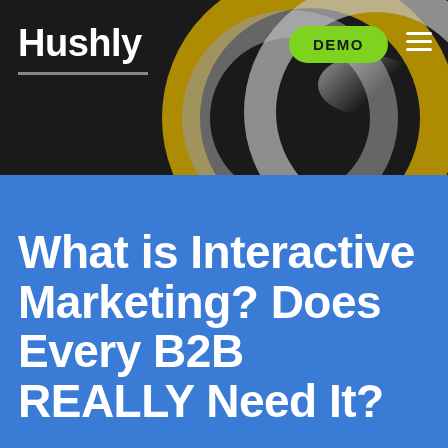Hushly
[Figure (screenshot): Hushly website navigation bar with logo, DEMO button, hamburger menu, and decorative metallic ring graphics on dark background]
What is Interactive Marketing? Does Every B2B REALLY Need It?